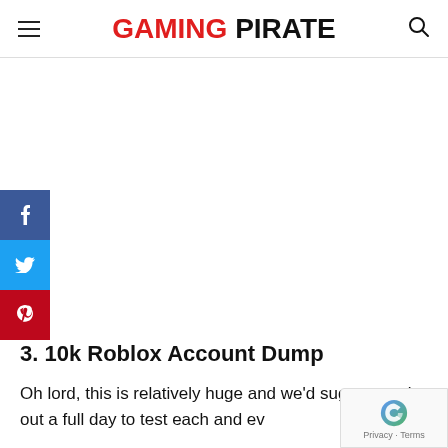GAMING PIRATE
[Figure (other): Social media share buttons sidebar: Facebook (blue), Twitter (cyan), Pinterest (red)]
3. 10k Roblox Account Dump
Oh lord, this is relatively huge and we'd sug you make out a full day to test each and ev